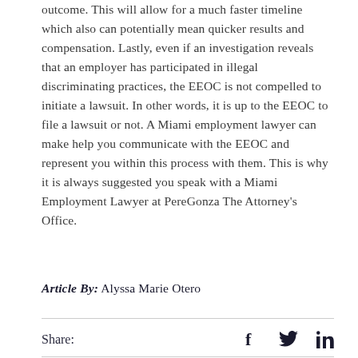outcome. This will allow for a much faster timeline which also can potentially mean quicker results and compensation. Lastly, even if an investigation reveals that an employer has participated in illegal discriminating practices, the EEOC is not compelled to initiate a lawsuit. In other words, it is up to the EEOC to file a lawsuit or not. A Miami employment lawyer can make help you communicate with the EEOC and represent you within this process with them. This is why it is always suggested you speak with a Miami Employment Lawyer at PereGonza The Attorney's Office.
Article By: Alyssa Marie Otero
[Figure (other): Social share icons row with Facebook, Twitter, and LinkedIn icons preceded by 'Share:' label]